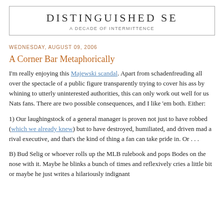DISTINGUISHED SE
A DECADE OF INTERMITTENCE
WEDNESDAY, AUGUST 09, 2006
A Corner Bar Metaphorically
I'm really enjoying this Majewski scandal. Apart from schadenfreuding all over the spectacle of a public figure transparently trying to cover his ass by whining to utterly uninterested authorities, this can only work out well for us Nats fans. There are two possible consequences, and I like 'em both. Either:
1) Our laughingstock of a general manager is proven not just to have robbed (which we already knew) but to have destroyed, humiliated, and driven mad a rival executive, and that's the kind of thing a fan can take pride in. Or . . .
B) Bud Selig or whoever rolls up the MLB rulebook and pops Bodes on the nose with it. Maybe he blinks a bunch of times and reflexively cries a little bit or maybe he just writes a hilariously indignant